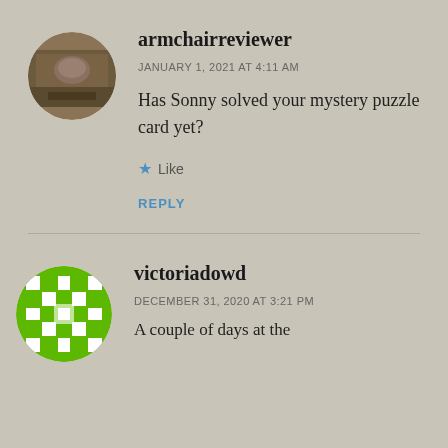[Figure (photo): Circular avatar photo of armchairreviewer user showing an indoor scene]
armchairreviewer
JANUARY 1, 2021 AT 4:11 AM
Has Sonny solved your mystery puzzle card yet?
Like
REPLY
[Figure (logo): Circular avatar for victoriadowd — green decorative pattern/logo]
victoriadowd
DECEMBER 31, 2020 AT 3:21 PM